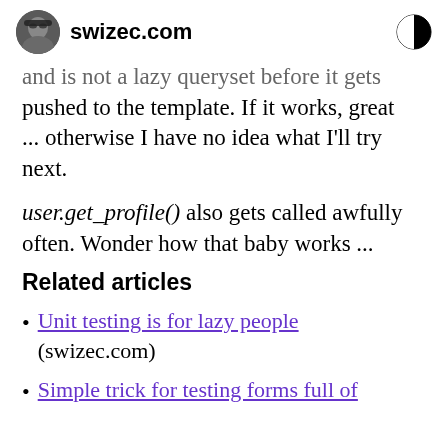swizec.com
and is not a lazy queryset before it gets pushed to the template. If it works, great ... otherwise I have no idea what I'll try next.
user.get_profile() also gets called awfully often. Wonder how that baby works ...
Related articles
Unit testing is for lazy people (swizec.com)
Simple trick for testing forms full of